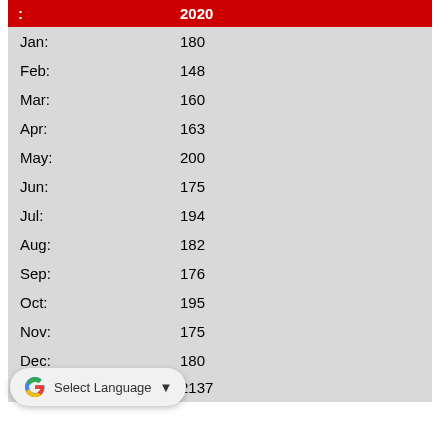| : | 2020 |
| --- | --- |
| Jan: | 180 |
| Feb: | 148 |
| Mar: | 160 |
| Apr: | 163 |
| May: | 200 |
| Jun: | 175 |
| Jul: | 194 |
| Aug: | 182 |
| Sep: | 176 |
| Oct: | 195 |
| Nov: | 175 |
| Dec: | 180 |
| Total: | 2137 |